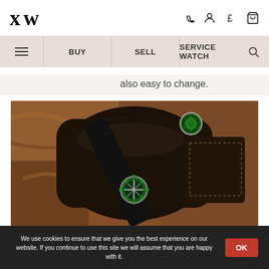LW logo and navigation icons (phone, user, currency, cart)
BUY | SELL | SERVICE WATCH navigation bar
also easy to change.
[Figure (photo): Close-up photo of a luxury watch with green gemstone bezel on a black alligator leather strap, resting on a dark brown leather watch roll/case with visible stitching, on a marble surface background.]
We use cookies to ensure that we give you the best experience on our website. If you continue to use this site we will assume that you are happy with it.